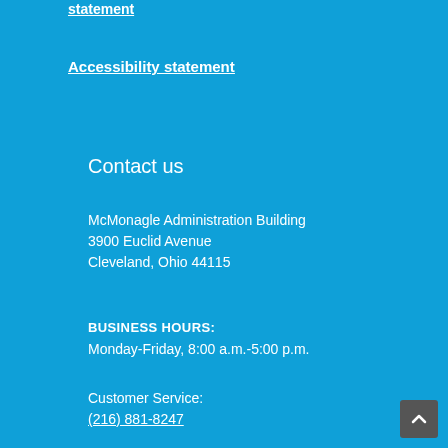statement
Accessibility statement
Contact us
McMonagle Administration Building
3900 Euclid Avenue
Cleveland, Ohio 44115
BUSINESS HOURS:
Monday-Friday, 8:00 a.m.-5:00 p.m.
Customer Service:
(216) 881-8247